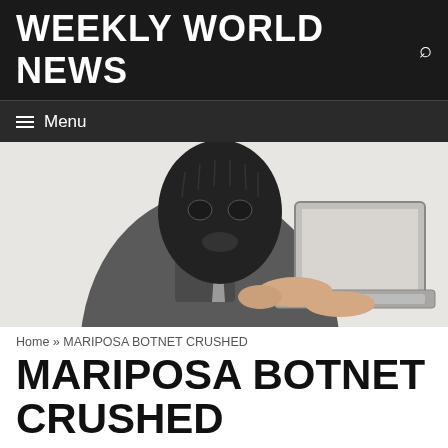WEEKLY WORLD NEWS
[Figure (photo): Person wearing a black ski mask/balaclava, dressed in a dark jacket, hunched over a silver laptop computer they are holding and typing on. White background.]
Home » MARIPOSA BOTNET CRUSHED
MARIPOSA BOTNET CRUSHED
March 3, 2010 by Maleeka Spriggs